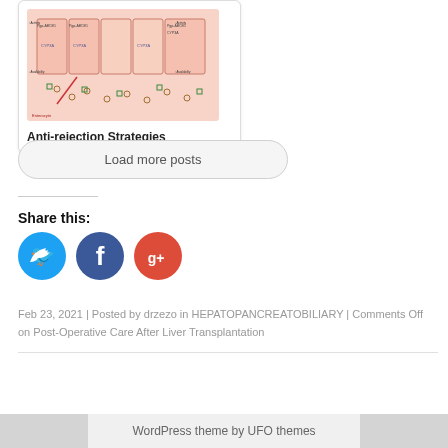[Figure (illustration): Medical diagram card showing Anti-rejection Strategies with biological cell diagram in pink/red tones, with labels including Pgp-ABCB1, CYP3A, Availability, and other pharmacological markers.]
Anti-rejection Strategies
Load more posts
Share this:
[Figure (infographic): Three social media icon buttons: Twitter (blue circle with bird icon), Facebook (dark blue circle with f icon), Google+ (red circle with g+ icon)]
Feb 23, 2021 | Posted by drzezo in HEPATOPANCREATOBILIARY | Comments Off on Post-Operative Care After Liver Transplantation
WordPress theme by UFO themes